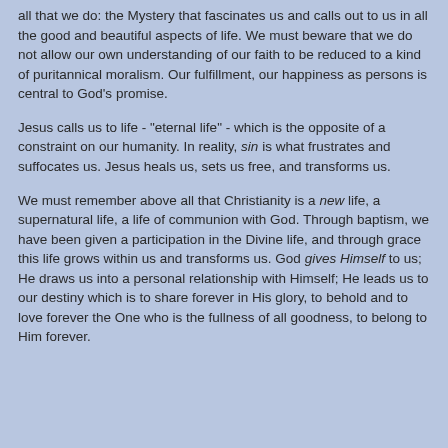all that we do: the Mystery that fascinates us and calls out to us in all the good and beautiful aspects of life. We must beware that we do not allow our own understanding of our faith to be reduced to a kind of puritannical moralism. Our fulfillment, our happiness as persons is central to God's promise.
Jesus calls us to life - "eternal life" - which is the opposite of a constraint on our humanity. In reality, sin is what frustrates and suffocates us. Jesus heals us, sets us free, and transforms us.
We must remember above all that Christianity is a new life, a supernatural life, a life of communion with God. Through baptism, we have been given a participation in the Divine life, and through grace this life grows within us and transforms us. God gives Himself to us; He draws us into a personal relationship with Himself; He leads us to our destiny which is to share forever in His glory, to behold and to love forever the One who is the fullness of all goodness, to belong to Him forever.